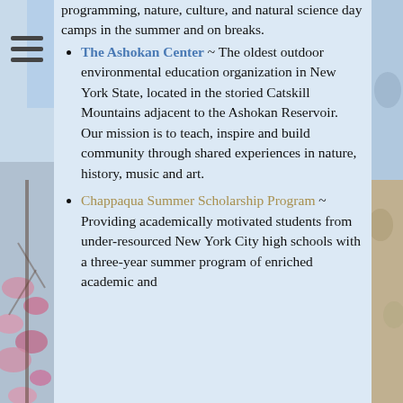programming, nature, culture, and natural science day camps in the summer and on breaks.
The Ashokan Center ~ The oldest outdoor environmental education organization in New York State, located in the storied Catskill Mountains adjacent to the Ashokan Reservoir. Our mission is to teach, inspire and build community through shared experiences in nature, history, music and art.
Chappaqua Summer Scholarship Program ~ Providing academically motivated students from under-resourced New York City high schools with a three-year summer program of enriched academic and